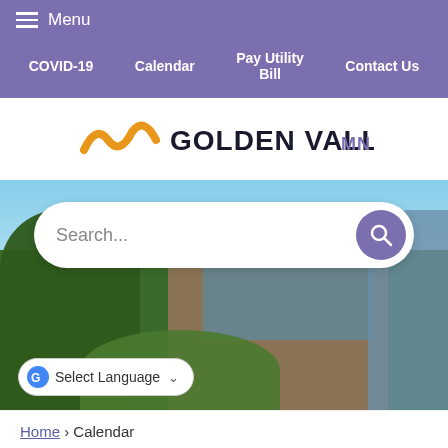Menu
COVID-19  Calendar  Pay Utility Bill  Contact Us
[Figure (logo): Golden Valley MN logo with orange wave/checkmark icon and bold dark text]
[Figure (photo): Photograph of Golden Valley city hall building with trees and blue sky, with search bar overlay]
Select Language
Home › Calendar